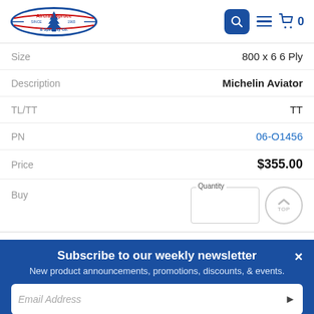Aircraft Spruce & Specialty Co.
| Field | Value |
| --- | --- |
| Size | 800 x 6 6 Ply |
| Description | Michelin Aviator |
| TL/TT | TT |
| PN | 06-O1456 |
| Price | $355.00 |
| Buy | Quantity |
Subscribe to our weekly newsletter
New product announcements, promotions, discounts, & events.
Email Address